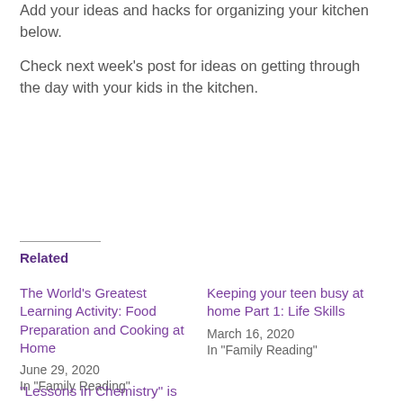Add your ideas and hacks for organizing your kitchen below.

Check next week’s post for ideas on getting through the day with your kids in the kitchen.
Related
The World’s Greatest Learning Activity: Food Preparation and Cooking at Home
June 29, 2020
In “Family Reading”
Keeping your teen busy at home Part 1: Life Skills
March 16, 2020
In “Family Reading”
“Lessons in Chemistry” is